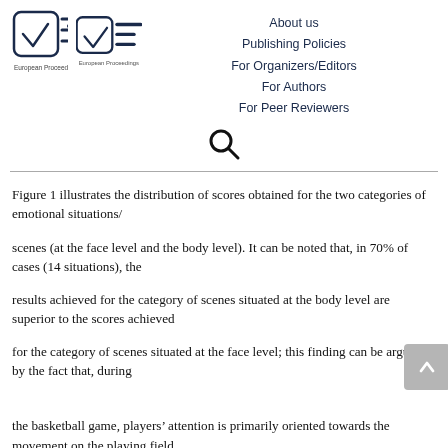About us
Publishing Policies
For Organizers/Editors
For Authors
For Peer Reviewers
[Figure (logo): European Proceedings logo: a checkbox with checkmark and EP-style horizontal lines, with text 'European Proceedings' below]
[Figure (other): Search icon (magnifying glass)]
Figure 1 illustrates the distribution of scores obtained for the two categories of emotional situations/
scenes (at the face level and the body level). It can be noted that, in 70% of cases (14 situations), the
results achieved for the category of scenes situated at the body level are superior to the scores achieved
for the category of scenes situated at the face level; this finding can be argued by the fact that, during
the basketball game, players’ attention is primarily oriented towards the movement on the playing field,